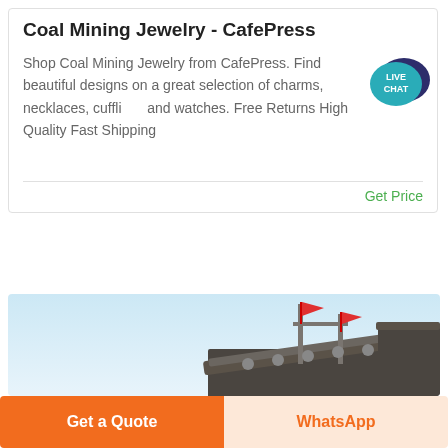Coal Mining Jewelry - CafePress
Shop Coal Mining Jewelry from CafePress. Find beautiful designs on a great selection of charms, necklaces, cufflinks and watches. Free Returns High Quality Fast Shipping
[Figure (illustration): Live chat speech bubble icon with teal/dark blue colors and white text 'LIVE CHAT']
Get Price
[Figure (photo): Industrial coal mining conveyor belt with a red flag flying on a support structure against a light blue sky background]
Get a Quote
WhatsApp